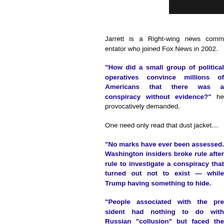[Figure (photo): Dark/black photo element in top right corner, partially visible]
Jarrett is a Right-wing news comm… in 2002.
“How did a small group of po… millions of Americans that the… evidence?” he provocatively dema…
One need only read that dust jacke…
“No marks have ever been as… Washington insiders broke rule a… conspiracy that turned out not t… Trump having something to hide.
“People associated with the pre… nothing to do with Russian “co… threat of huge legal bills. Someh… bullies.